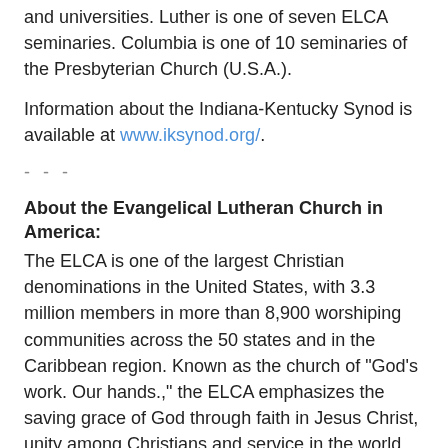and universities. Luther is one of seven ELCA seminaries. Columbia is one of 10 seminaries of the Presbyterian Church (U.S.A.).
Information about the Indiana-Kentucky Synod is available at www.iksynod.org/.
- - -
About the Evangelical Lutheran Church in America:
The ELCA is one of the largest Christian denominations in the United States, with 3.3 million members in more than 8,900 worshiping communities across the 50 states and in the Caribbean region. Known as the church of "God's work. Our hands.," the ELCA emphasizes the saving grace of God through faith in Jesus Christ, unity among Christians and service in the world. The ELCA's roots are in the writings of the German church reformer Martin Luther.
For information contact:
Candice Hill Pushbinder